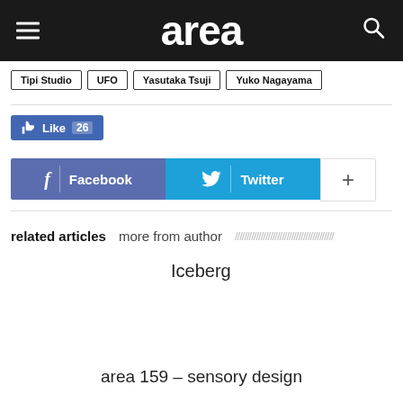area
Tipi Studio
UFO
Yasutaka Tsuji
Yuko Nagayama
Like 26
f Facebook
Twitter
+
related articles   more from author
Iceberg
area 159 – sensory design